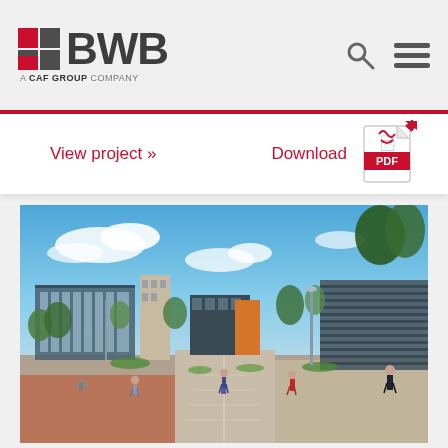[Figure (logo): BWB logo with red and gray grid squares, bold BWB text, tagline 'A CAF GROUP COMPANY']
View project »
Download
[Figure (illustration): Architectural rendering of a business/commercial campus with pedestrians, paved walkways, modern buildings, trees and landscaping under a blue sky]
[Figure (other): PDF download icon (red Adobe PDF logo)]